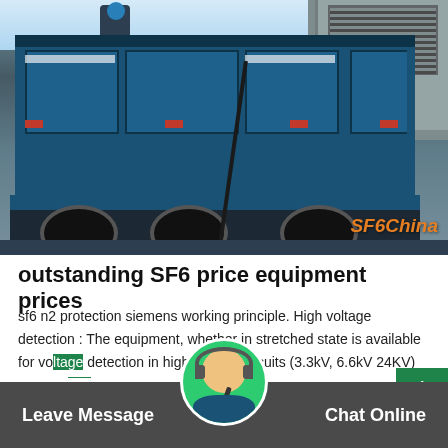[Figure (photo): Photograph of a blue dump truck with SF6 equipment loaded on the back, with a worker visible in the background. Orange 'SF6China' watermark in bottom-right corner.]
outstanding SF6 price equipment prices
sf6 n2 protection siemens working principle. High voltage detection : The equipment, whether in stretched state is available for voltage detection in high tension circuits (3.3kV, 6.6kV 24KV) whether the wires involved are naked or n...
Leave Message   Chat Online